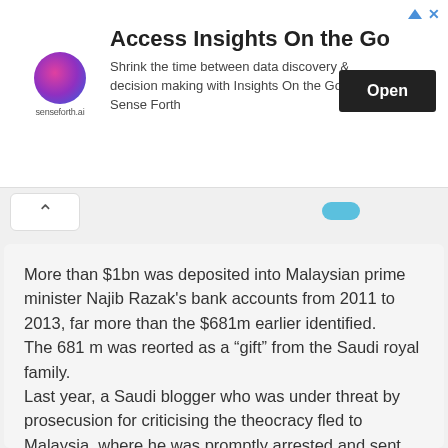[Figure (screenshot): Advertisement banner for senseforth.ai product 'Access Insights On the Go'. Contains logo, headline, body text, and Open button.]
More than $1bn was deposited into Malaysian prime minister Najib Razak's bank accounts from 2011 to 2013, far more than the $681m earlier identified.
The 681 m was reorted as a “gift” from the Saudi royal family.
Last year, a Saudi blogger who was under threat by prosecusion for criticising the theocracy fled to Malaysia, where he was promptly arrested and sent back to Saudi Arabia without a hearing in Malaysia (coughmoney changing handscough). This reminds me of the two Swedish party leaders who harshly criticised the Swedish government for criticising the Saudi record of human rights violations. Also fifty Swedish